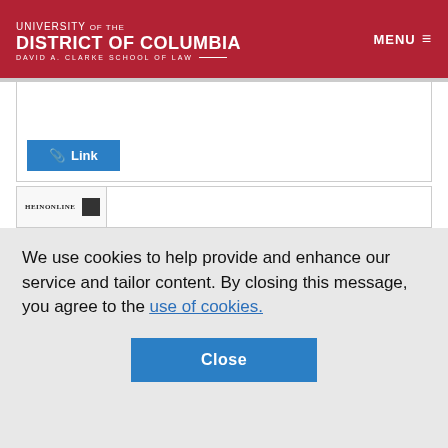[Figure (logo): University of the District of Columbia David A. Clarke School of Law logo on dark red header background]
MENU ☰
Link
Journal Articles (6)
Article
We use cookies to help provide and enhance our service and tailor content. By closing this message, you agree to the use of cookies.
Close
Back to Top
[Figure (logo): HeinOnline logo with QR code in article thumbnail]